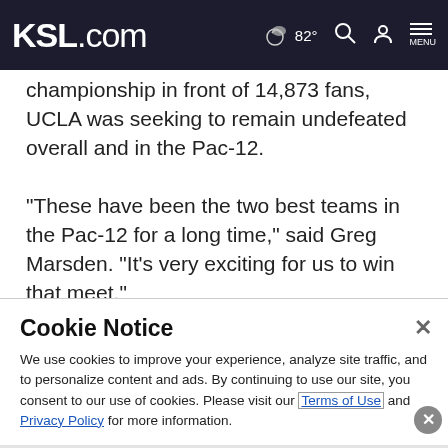KSL.com — 82° weather, search, account, menu
championship in front of 14,873 fans, UCLA was seeking to remain undefeated overall and in the Pac-12.
"These have been the two best teams in the Pac-12 for a long time," said Greg Marsden. "It's very exciting for us to win that meet."
The Utes began the night scoring their season-best on the
Cookie Notice
We use cookies to improve your experience, analyze site traffic, and to personalize content and ads. By continuing to use our site, you consent to our use of cookies. Please visit our Terms of Use and Privacy Policy for more information.